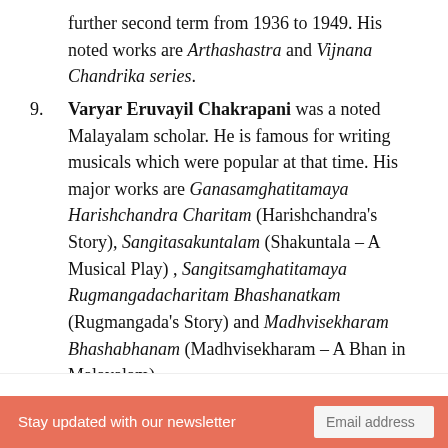further second term from 1936 to 1949. His noted works are Arthashastra and Vijnana Chandrika series.
9. Varyar Eruvayil Chakrapani was a noted Malayalam scholar. He is famous for writing musicals which were popular at that time. His major works are Ganasamghatitamaya Harishchandra Charitam (Harishchandra's Story), Sangitasakuntalam (Shakuntala – A Musical Play) , Sangitsamghatitamaya Rugmangadacharitam Bhashanatkam (Rugmangada's Story) and Madhvisekharam Bhashabhanam (Madhvisekharam – A Bhan in Malayalam)
Stay updated with our newsletter